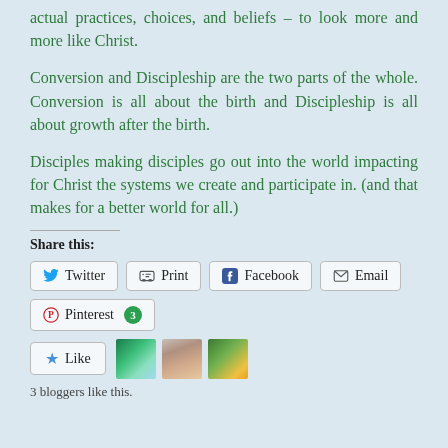actual practices, choices, and beliefs – to look more and more like Christ.
Conversion and Discipleship are the two parts of the whole. Conversion is all about the birth and Discipleship is all about growth after the birth.
Disciples making disciples go out into the world impacting for Christ the systems we create and participate in. (and that makes for a better world for all.)
Share this:
Twitter
Print
Facebook
Email
Pinterest 3
Like
3 bloggers like this.